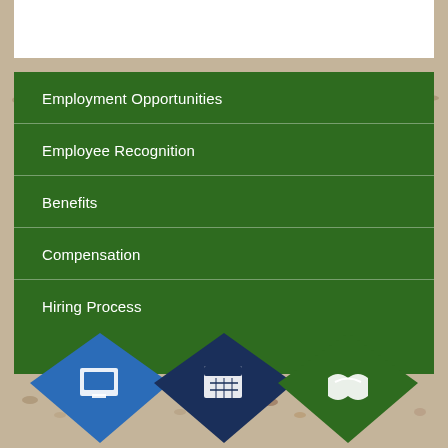Employment Opportunities
Employee Recognition
Benefits
Compensation
Hiring Process
[Figure (illustration): Three diamond/chevron shaped icons at the bottom: blue with a building/screen icon, navy with a calendar icon, green with a handshake icon, over a gravel/wood chip background texture]